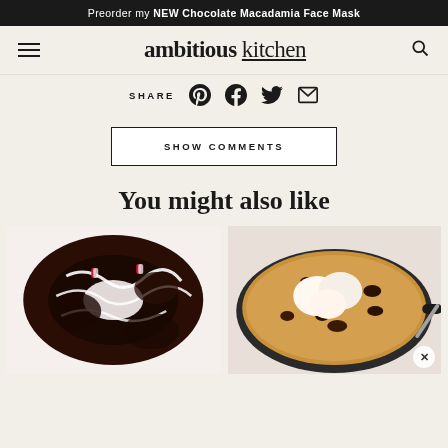Preorder my NEW Chocolate Macadamia Face Mask
[Figure (logo): Ambitious Kitchen logo with hamburger menu and search icon]
SHARE
SHOW COMMENTS
You might also like
[Figure (photo): Chocolate peppermint bundt cake with white drizzle and candy cane pieces]
[Figure (photo): Skillet chocolate chip cookie with ice cream scoops on top]